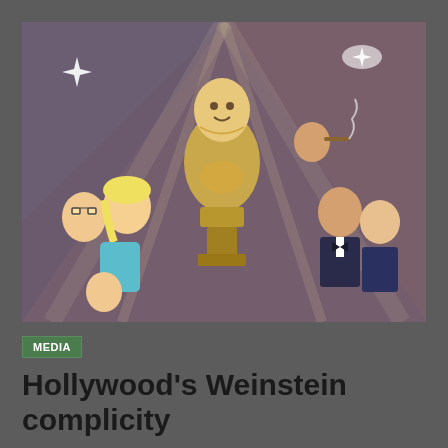[Figure (illustration): Cartoon/caricature illustration showing a large Oscar statuette figure in the center with various caricatures of Hollywood celebrities around it, rendered in comic book style with dramatic lighting rays in the background]
MEDIA
Hollywood's Weinstein complicity